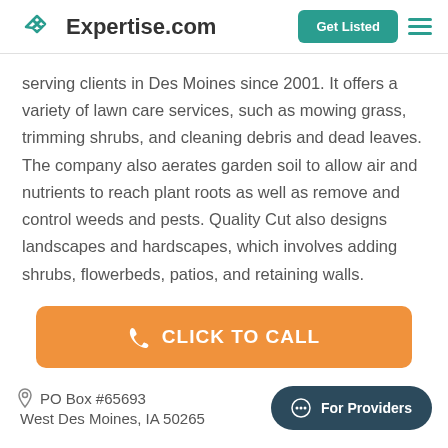Expertise.com | Get Listed
serving clients in Des Moines since 2001. It offers a variety of lawn care services, such as mowing grass, trimming shrubs, and cleaning debris and dead leaves. The company also aerates garden soil to allow air and nutrients to reach plant roots as well as remove and control weeds and pests. Quality Cut also designs landscapes and hardscapes, which involves adding shrubs, flowerbeds, patios, and retaining walls.
CLICK TO CALL
PO Box #65693
West Des Moines, IA 50265